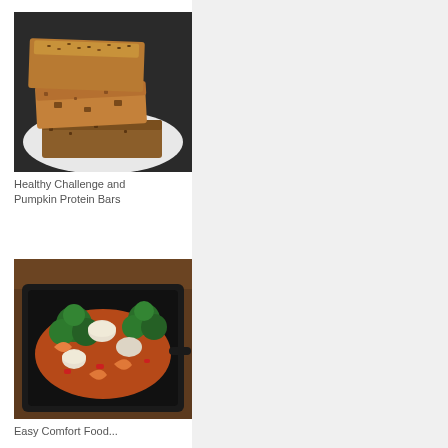[Figure (photo): Stack of pumpkin protein bars on a white plate against a dark background]
Healthy Challenge and Pumpkin Protein Bars
[Figure (photo): Pan of seafood and vegetable stir-fry with shrimp, broccoli, mushrooms and red peppers in a black skillet]
Easy Comfort Food...